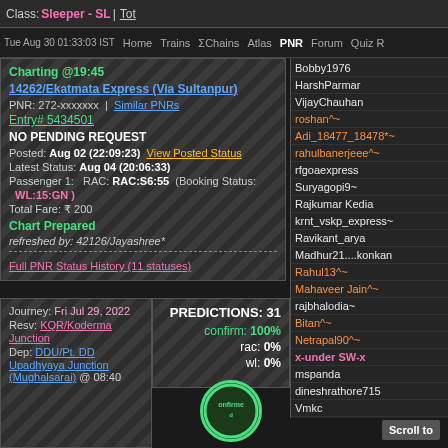Class: Sleeper - SL | Tot
Tue Aug 30 01:33:03 IST  Home  Trains  ΣChains  Atlas  PNR  Forum  Quiz R
Charting @19:45
14262/Ekatmata Express (Via Sultanpur)
PNR: 272-xxxxxxx | Similar PNRs
Entry# 5434501
NO PENDING REQUEST
Posted: Aug 02 (22:09:23)  View Posted Status
Latest Status: Aug 04 (20:06:33)
Passenger 1:  RAC: RAC:S6:55  (Booking Status: WL:15:GN )
Total Fare: ₹ 200
Chart Prepared
refreshed by: 42126/Jayashree*
Full PNR Status History (11 statuses)
Journey: Fri Jul 29, 2022
Resv: KQR/Koderma Junction
Dep: DDU/Pt. DD Upadhyaya Junction (Mughalsarai) @ 08:40
PREDICTIONS: 31
confirm: 100%
rac: 0%
wl: 0%
Bobby1976
HarshParmar
VijayChauhan
roshan^~
Adi_18477_18478*~
rahulbanerjeee^~
rfgoaexpress
Suryagopi9~
Rajkumar Kedia
krnt_vskp_express~
Ravikant_arya
Madhur21....konkan
Rahul13^~
Mahaveer Jain^~
rajbhalodia~
Bitan^~
Netrapal90^~
x-under SW-x
mspanda
dineshrathore715
Vmkc
Divyansh~
Siddha
Scroll to